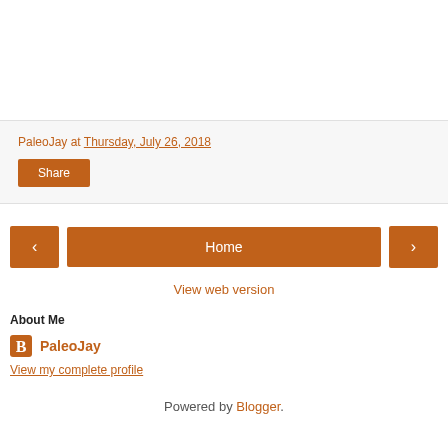PaleoJay at Thursday, July 26, 2018
Share
‹   Home   ›
View web version
About Me
PaleoJay
View my complete profile
Powered by Blogger.